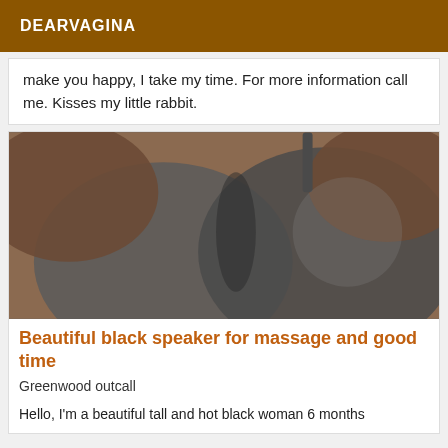DEARVAGINA
make you happy, I take my time. For more information call me. Kisses my little rabbit.
[Figure (photo): Close-up photo of a person wearing a grey bra]
Beautiful black speaker for massage and good time
Greenwood outcall
Hello, I'm a beautiful tall and hot black woman 6 months